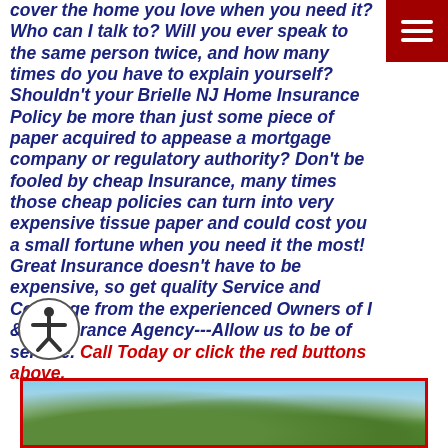cover the home you love when you need it? Who can I talk to? Will you ever speak to the same person twice, and how many times do you have to explain yourself? Shouldn't your Brielle NJ Home Insurance Policy be more than just some piece of paper acquired to appease a mortgage company or regulatory authority? Don't be fooled by cheap Insurance, many times those cheap policies can turn into very expensive tissue paper and could cost you a small fortune when you need it the most! Great Insurance doesn't have to be expensive, so get quality Service and Coverage from the experienced Owners of I & E Insurance Agency---Allow us to be of service. Call Today or click the red buttons above.
[Figure (photo): Photo strip showing a house with blue sky and trees in background, bordered in red]